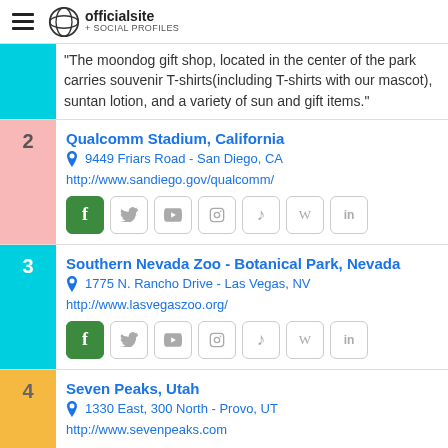officialsite + SOCIAL PROFILES
The moondog gift shop, located in the center of the park carries souvenir T-shirts(including T-shirts with our mascot), suntan lotion, and a variety of sun and gift items."
2 Qualcomm Stadium, California
9449 Friars Road - San Diego, CA
http://www.sandiego.gov/qualcomm/
3 Southern Nevada Zoo - Botanical Park, Nevada
1775 N. Rancho Drive - Las Vegas, NV
http://www.lasvegaszoo.org/
4 Seven Peaks, Utah
1330 East, 300 North - Provo, UT
http://www.sevenpeaks.com